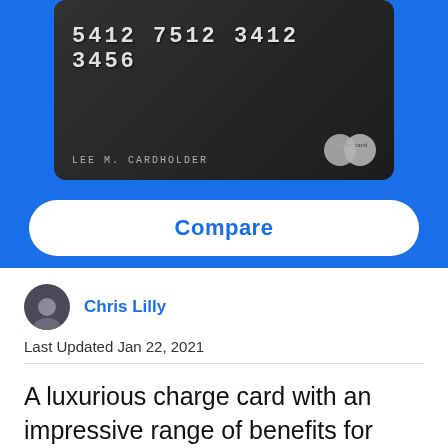[Figure (photo): A dark credit card with number 5412 7512 3412 3456, cardholder name LEE M. CARDHOLDER, and a Mastercard logo in the bottom right, shown in grayscale against a blue background]
Compare
Chris Lilly
Last Updated Jan 22, 2021
A luxurious charge card with an impressive range of benefits for Coutts' high-net-worth customers.